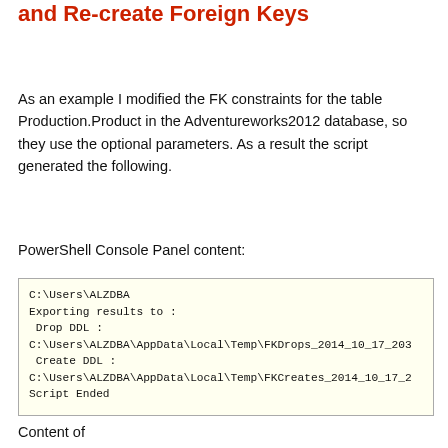and Re-create Foreign Keys
As an example I modified the FK constraints for the table Production.Product in the Adventureworks2012 database, so they use the optional parameters.  As a result the script generated the following.
PowerShell Console Panel content:
[Figure (screenshot): PowerShell console output box showing: C:\Users\ALZDBA, Exporting results to :, Drop DDL : C:\Users\ALZDBA\AppData\Local\Temp\FKDrops_2014_10_17_203..., Create DDL : C:\Users\ALZDBA\AppData\Local\Temp\FKCreates_2014_10_17_2..., Script Ended, PS C:\Users\ALZDBA>]
Content of
C:\Users\ALZDBA\AppData\Local\Temp\FKDrops_2014_10_17_...